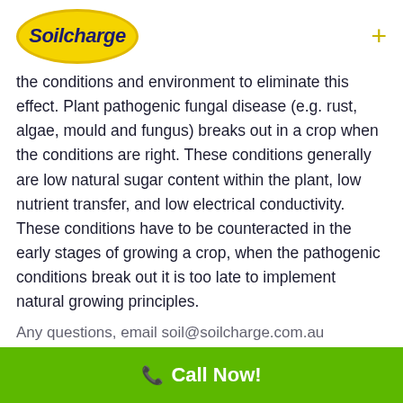[Figure (logo): Soilcharge brand logo — yellow oval with dark blue italic bold text 'Soilcharge']
the conditions and environment to eliminate this effect. Plant pathogenic fungal disease (e.g. rust, algae, mould and fungus) breaks out in a crop when the conditions are right. These conditions generally are low natural sugar content within the plant, low nutrient transfer, and low electrical conductivity. These conditions have to be counteracted in the early stages of growing a crop, when the pathogenic conditions break out it is too late to implement natural growing principles.
Any questions, email soil@soilcharge.com.au
Call Now!